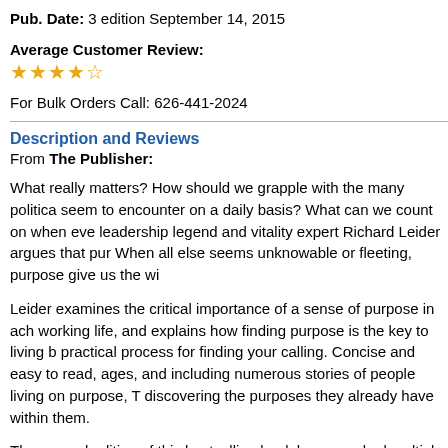Pub. Date: 3 edition September 14, 2015
Average Customer Review:
[Figure (other): Star rating: approximately 4 out of 5 stars (gold stars)]
For Bulk Orders Call: 626-441-2024
Description and Reviews
From The Publisher:
What really matters? How should we grapple with the many politica... seem to encounter on a daily basis? What can we count on when eve... leadership legend and vitality expert Richard Leider argues that pur... When all else seems unknowable or fleeting, purpose give us the wi...
Leider examines the critical importance of a sense of purpose in ach... working life, and explains how finding purpose is the key to living b... practical process for finding your calling. Concise and easy to read,... ages, and including numerous stories of people living on purpose, T... discovering the purposes they already have within them.
The second edition of this bestselling book has reworked multiple ch... lessons learned by the author. It also emphasizes new techniques an... purpose, research demonstrating the documented medical connectio... results of fulfilled individuals who discovered that, in retrospect, me...